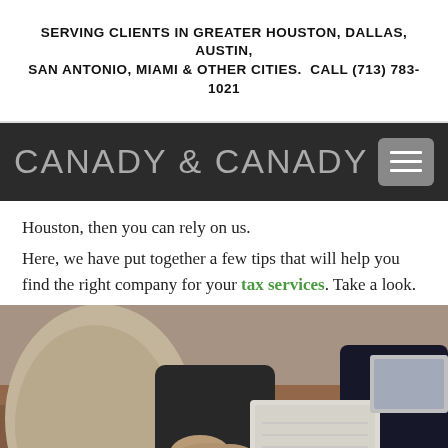SERVING CLIENTS IN GREATER HOUSTON, DALLAS, AUSTIN, SAN ANTONIO, MIAMI & OTHER CITIES. CALL (713) 783-1021
CANADY & CANADY
Houston, then you can rely on us.
Here, we have put together a few tips that will help you find the right company for your tax services. Take a look.
[Figure (photo): Business meeting scene viewed from above/behind: people seated at a table, one person writing with a pencil on paper, another with hands clasped, a laptop visible in the corner.]